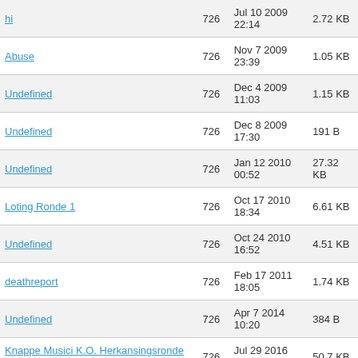| Name | Replies | Date | Size |
| --- | --- | --- | --- |
| hi | 726 | Jul 10 2009 22:14 | 2.72 KB |
| Abuse | 726 | Nov 7 2009 23:39 | 1.05 KB |
| Undefined | 726 | Dec 4 2009 11:03 | 1.15 KB |
| Undefined | 726 | Dec 8 2009 17:30 | 191 B |
| Undefined | 726 | Jan 12 2010 00:52 | 27.32 KB |
| Loting Ronde 1 | 726 | Oct 17 2010 18:34 | 6.61 KB |
| Undefined | 726 | Oct 24 2010 16:52 | 4.51 KB |
| deathreport | 726 | Feb 17 2011 18:05 | 1.74 KB |
| Undefined | 726 | Apr 7 2014 10:20 | 384 B |
| Knappe Musici K.O. Herkansingsronde 1 | 726 | Jul 29 2016 16:32 | 50.7 KB |
| UPDATED BOOKSHELF | 725 | Apr 11 2009 20:12 | 2.17 KB |
| Undefined | 725 | Jan 13 2010 | 572 B |